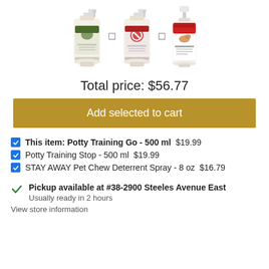[Figure (illustration): Three product bottles: Potty Training Go 500ml, Potty Training Stop 500ml, and STAY AWAY Pet Chew Deterrent Spray 8oz, arranged in a row with plus signs between them]
Total price: $56.77
Add selected to cart
This item: Potty Training Go - 500 ml  $19.99
Potty Training Stop - 500 ml  $19.99
STAY AWAY Pet Chew Deterrent Spray - 8 oz  $16.79
Pickup available at #38-2900 Steeles Avenue East
Usually ready in 2 hours
View store information